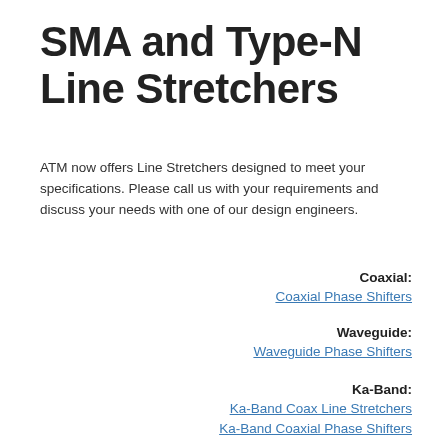SMA and Type-N Line Stretchers
ATM now offers Line Stretchers designed to meet your specifications. Please call us with your requirements and discuss your needs with one of our design engineers.
Coaxial:
Coaxial Phase Shifters
Waveguide:
Waveguide Phase Shifters
Ka-Band:
Ka-Band Coax Line Stretchers
Ka-Band Coaxial Phase Shifters